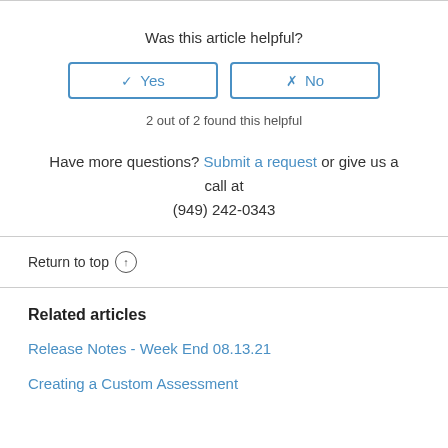Was this article helpful?
✓ Yes   ✗ No
2 out of 2 found this helpful
Have more questions? Submit a request or give us a call at (949) 242-0343
Return to top ↑
Related articles
Release Notes - Week End 08.13.21
Creating a Custom Assessment